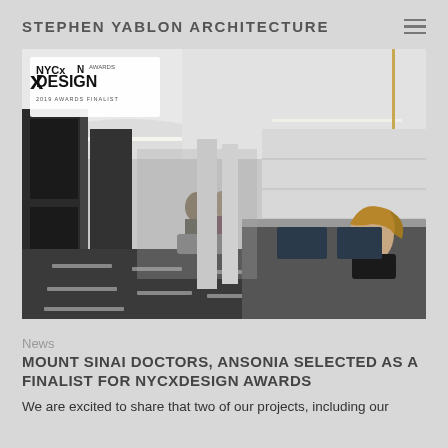STEPHEN YABLON ARCHITECTURE
[Figure (photo): Interior architectural photo of a modern medical office or lobby hallway. The space features a curved white ceiling with recessed lighting strips, dark tile flooring with light inlay strips, black paneled doors on the left wall, white paneled walls on the right, a reception desk in the foreground right where a woman with blonde hair is seated, and two people seated in the background. An NYCxDesign 2019 Awards Finalist badge overlays the top-left corner of the image.]
News
MOUNT SINAI DOCTORS, ANSONIA SELECTED AS A FINALIST FOR NYCXDESIGN AWARDS
We are excited to share that two of our projects, including our